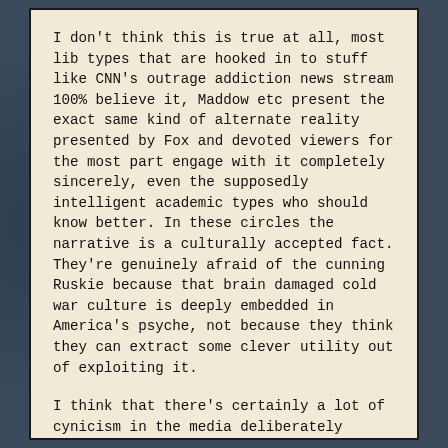I don't think this is true at all, most lib types that are hooked in to stuff like CNN's outrage addiction news stream 100% believe it, Maddow etc present the exact same kind of alternate reality presented by Fox and devoted viewers for the most part engage with it completely sincerely, even the supposedly intelligent academic types who should know better. In these circles the narrative is a culturally accepted fact. They're genuinely afraid of the cunning Ruskie because that brain damaged cold war culture is deeply embedded in America's psyche, not because they think they can extract some clever utility out of exploiting it.
I think that there's certainly a lot of cynicism in the media deliberately constructing their narrative to be addicting, but I never see that kind of ironic cynicism mirrored when talking to people who watch it: they're all in on the fantasy and their continued engagement is guaranteed by their confusion and frustration that something that is sold to them as so conclusively obvious still hasn't been acted on (because it doesn't exist lol.) And this includes the complicit journalists and news staff, everyone is the hero of their own story and